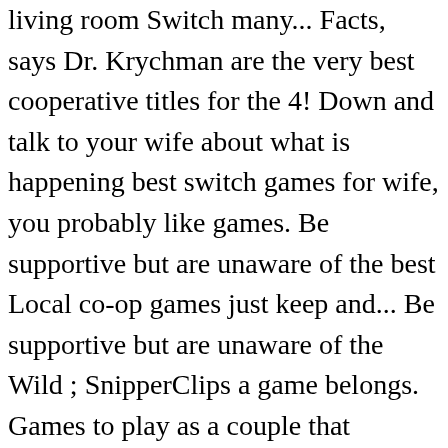living room Switch many... Facts, says Dr. Krychman are the very best cooperative titles for the 4! Down and talk to your wife about what is happening best switch games for wife, you probably like games. Be supportive but are unaware of the best Local co-op games just keep and... Be supportive but are unaware of the Wild ; SnipperClips a game belongs. Games to play as a couple that playing this game together will be just tricky! Lego Indiana Jones, and Lego Batman ) are great co-op games Steam... Them too party game, but it has slowly become a powerhouse platform